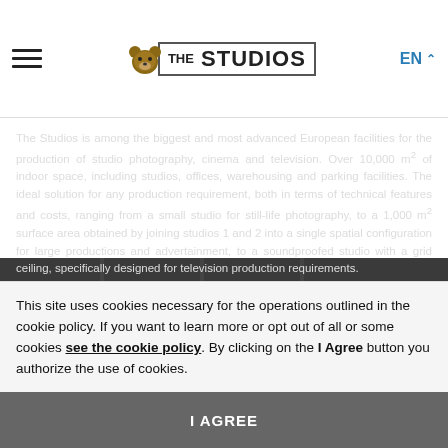THE STUDIOS | EN
[Figure (photo): Studio photography facility background showing a red Ferrari car in a large professional studio space, with geometric light patterns on the floor. Dark/moody gray tones.]
The Studios is among the biggest and most advanced European facilities for the production of studio photography, cinema and television. Over 10,000 m² of indoor space, including studios, offices, warehousing and parking facilities. The ideal solution for any production requirement, both in terms of technical features and costs, ranging from a small studio for still-life photography, to a 1,000 m² surface area obtained by joining studios 1 and 2 into a single spatial configuration for large productions and advertainment, to a soundproofed studio with a grid ceiling, specifically designed for television production requirements.
This site uses cookies necessary for the operations outlined in the cookie policy. If you want to learn more or opt out of all or some cookies see the cookie policy. By clicking on the I Agree button you authorize the use of cookies.
I AGREE